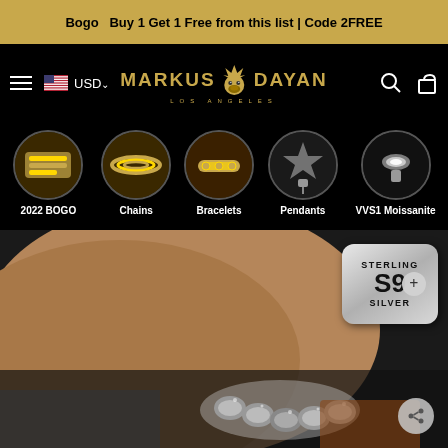Bogo  Buy 1 Get 1 Free from this list | Code 2FREE
[Figure (screenshot): Markus Dayan Los Angeles jewelry brand logo with crown and gorilla icon in gold, navigation bar with hamburger menu, US flag, USD currency selector, search and cart icons on black background]
2022 BOGO
Chains
Bracelets
Pendants
VVS1 Moissanite
[Figure (photo): Hero image of a wrist wearing a large sterling silver Cuban link bracelet, with a Sterling Silver $9x price badge overlay in the upper right]
STERLING S9 SILVER